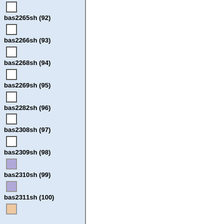bas2265sh (92)
bas2266sh (93)
bas2268sh (94)
bas2269sh (95)
bas2282sh (96)
bas2308sh (97)
bas2309sh (98)
bas2310sh (99)
bas2311sh (100)